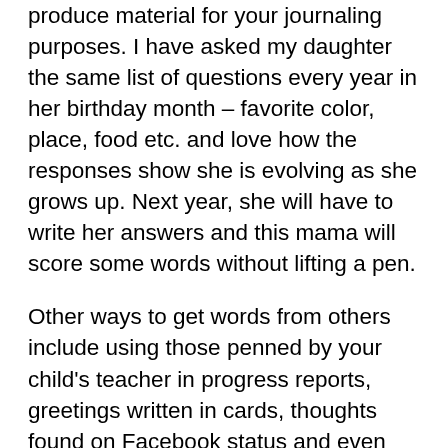produce material for your journaling purposes. I have asked my daughter the same list of questions every year in her birthday month – favorite color, place, food etc. and love how the responses show she is evolving as she grows up. Next year, she will have to write her answers and this mama will score some words without lifting a pen.
Other ways to get words from others include using those penned by your child's teacher in progress reports, greetings written in cards, thoughts found on Facebook status and even comments on your photos on Instagram. Since many of us actually spend time on social media, why not use those words for our pages too? While at it, look out for numerous free printables that are everywhere these days. Clique Kits have some